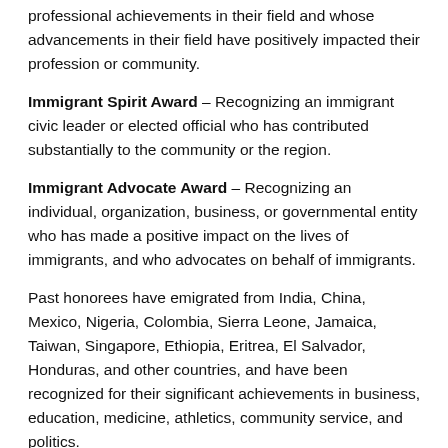professional achievements in their field and whose advancements in their field have positively impacted their profession or community.
Immigrant Spirit Award – Recognizing an immigrant civic leader or elected official who has contributed substantially to the community or the region.
Immigrant Advocate Award – Recognizing an individual, organization, business, or governmental entity who has made a positive impact on the lives of immigrants, and who advocates on behalf of immigrants.
Past honorees have emigrated from India, China, Mexico, Nigeria, Colombia, Sierra Leone, Jamaica, Taiwan, Singapore, Ethiopia, Eritrea, El Salvador, Honduras, and other countries, and have been recognized for their significant achievements in business, education, medicine, athletics, community service, and politics.
The Immigrant Journey Awards will be presented at